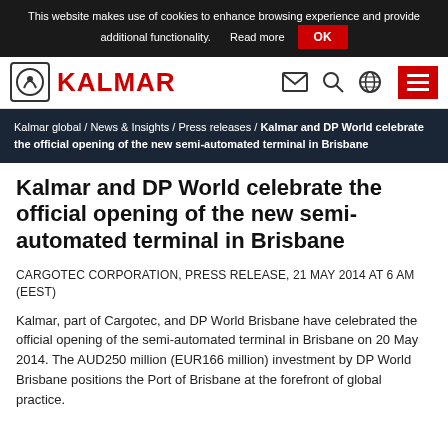This website makes use of cookies to enhance browsing experience and provide additional functionality. Read more OK
[Figure (logo): Kalmar logo with navigation icons (envelope, search, globe) and hamburger menu]
Kalmar global / News & Insights / Press releases / Kalmar and DP World celebrate the official opening of the new semi-automated terminal in Brisbane
Kalmar and DP World celebrate the official opening of the new semi-automated terminal in Brisbane
CARGOTEC CORPORATION, PRESS RELEASE, 21 MAY 2014 AT 6 AM (EEST)
Kalmar, part of Cargotec, and DP World Brisbane have celebrated the official opening of the semi-automated terminal in Brisbane on 20 May 2014. The AUD250 million (EUR166 million) investment by DP World Brisbane positions the Port of Brisbane at the forefront of global practice.